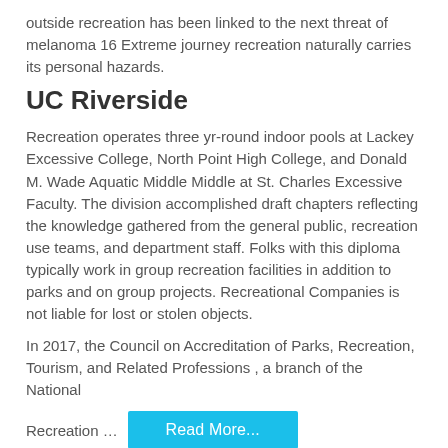outside recreation has been linked to the next threat of melanoma 16 Extreme journey recreation naturally carries its personal hazards.
UC Riverside
Recreation operates three yr-round indoor pools at Lackey Excessive College, North Point High College, and Donald M. Wade Aquatic Middle Middle at St. Charles Excessive Faculty. The division accomplished draft chapters reflecting the knowledge gathered from the general public, recreation use teams, and department staff. Folks with this diploma typically work in group recreation facilities in addition to parks and on group projects. Recreational Companies is not liable for lost or stolen objects.
In 2017, the Council on Accreditation of Parks, Recreation, Tourism, and Related Professions , a branch of the National
Recreation …
Read More...